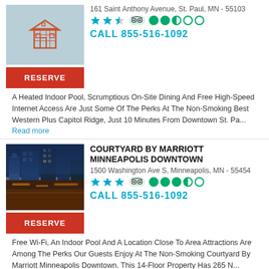[Figure (illustration): Hotel building icon on light blue background]
RESERVE
161 Saint Anthony Avenue, St. Paul, MN - 55103
[Figure (illustration): Star rating: 2.5 stars, TripAdvisor: 2.5 out of 5 circles]
CALL 855-516-1092
A Heated Indoor Pool, Scrumptious On-Site Dining And Free High-Speed Internet Access Are Just Some Of The Perks At The Non-Smoking Best Western Plus Capitol Ridge, Just 10 Minutes From Downtown St. Pa...
Read more
[Figure (photo): Photo of Courtyard by Marriott Minneapolis Downtown hotel building at night]
RESERVE
COURTYARD BY MARRIOTT MINNEAPOLIS DOWNTOWN
1500 Washington Ave S, Minneapolis, MN - 55454
[Figure (illustration): Star rating: 3 stars, TripAdvisor: 3.5 out of 5 circles]
CALL 855-516-1092
Free Wi-Fi, An Indoor Pool And A Location Close To Area Attractions Are Among The Perks Our Guests Enjoy At The Non-Smoking Courtyard By Marriott Minneapolis Downtown. This 14-Floor Property Has 265 N...
Read more